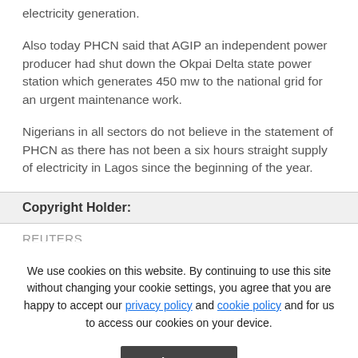electricity generation.
Also today PHCN said that AGIP an independent power producer had shut down the Okpai Delta state power station which generates 450 mw to the national grid for an urgent maintenance work.
Nigerians in all sectors do not believe in the statement of PHCN as there has not been a six hours straight supply of electricity in Lagos since the beginning of the year.
Copyright Holder:
REUTERS
We use cookies on this website. By continuing to use this site without changing your cookie settings, you agree that you are happy to accept our privacy policy and cookie policy and for us to access our cookies on your device.
Accept